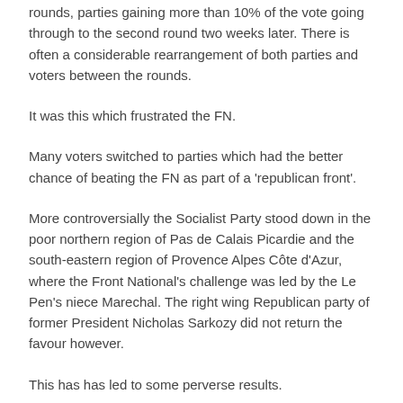rounds, parties gaining more than 10% of the vote going through to the second round two weeks later. There is often a considerable rearrangement of both parties and voters between the rounds.
It was this which frustrated the FN.
Many voters switched to parties which had the better chance of beating the FN as part of a 'republican front'.
More controversially the Socialist Party stood down in the poor northern region of Pas de Calais Picardie and the south-eastern region of Provence Alpes Côte d'Azur, where the Front National's challenge was led by the Le Pen's niece Marechal. The right wing Republican party of former President Nicholas Sarkozy did not return the favour however.
This has has led to some perverse results.
Cold comfort in the north